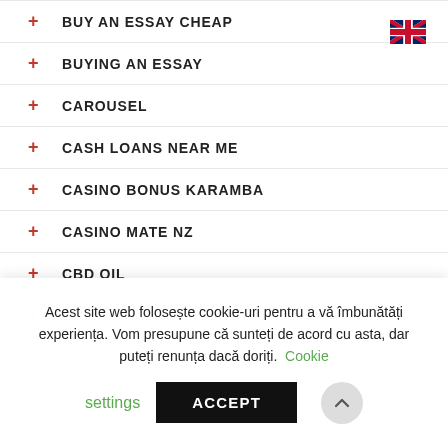+ BUY AN ESSAY CHEAP
+ BUYING AN ESSAY
+ CAROUSEL
+ CASH LOANS NEAR ME
+ CASINO BONUS KARAMBA
+ CASINO MATE NZ
+ CBD OIL
+ CBD CANNABIDIOL SITE (partially visible)
Acest site web folosește cookie-uri pentru a vă îmbunătăți experiența. Vom presupune că sunteți de acord cu asta, dar puteți renunța dacă doriți. Cookie settings ACCEPT